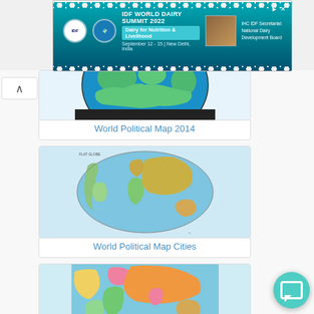[Figure (other): Advertisement banner for IDF World Dairy Summit 2022 - Dairy for Nutrition & Livelihood, September 12-15, New Delhi, India, with IDF Secretariat and National Dairy Development Board logos]
[Figure (map): World Political Map 2014 - globe view showing Earth from above with blue oceans and land masses]
World Political Map 2014
[Figure (map): World Political Map Cities - oval/elliptical projection showing world map with country names and cities marked]
World Political Map Cities
[Figure (map): Partial view of a colorful world political map with countries shown in different colors (pink, yellow, green, orange)]